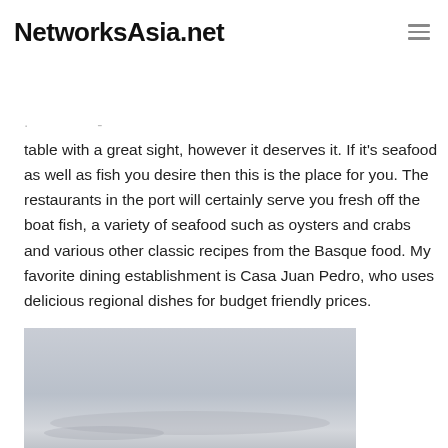NetworksAsia.net
table with a great sight, however it deserves it. If it's seafood as well as fish you desire then this is the place for you. The restaurants in the port will certainly serve you fresh off the boat fish, a variety of seafood such as oysters and crabs and various other classic recipes from the Basque food. My favorite dining establishment is Casa Juan Pedro, who uses delicious regional dishes for budget friendly prices.
[Figure (photo): A grey-sky outdoor photograph, partially visible, showing a pale overcast sky scene.]